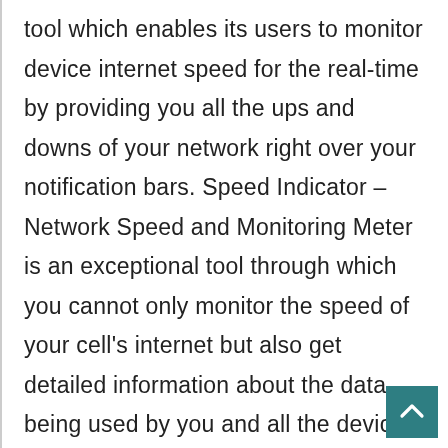tool which enables its users to monitor device internet speed for the real-time by providing you all the ups and downs of your network right over your notification bars. Speed Indicator – Network Speed and Monitoring Meter is an exceptional tool through which you cannot only monitor the speed of your cell's internet but also get detailed information about the data being used by you and all the devices connected with your phone. The app instantly and easily tells you about the current network availability of the internet so that you can manage to get data without any delay or even